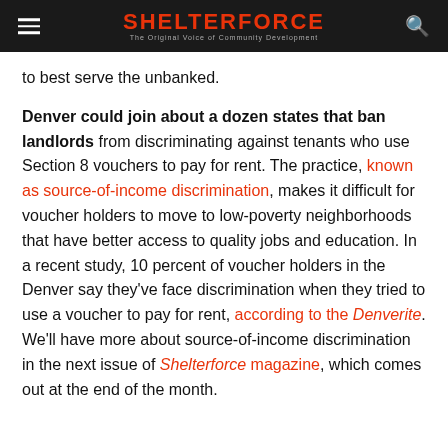SHELTERFORCE — The Original Voice of Community Development
to best serve the unbanked.
Denver could join about a dozen states that ban landlords from discriminating against tenants who use Section 8 vouchers to pay for rent. The practice, known as source-of-income discrimination, makes it difficult for voucher holders to move to low-poverty neighborhoods that have better access to quality jobs and education. In a recent study, 10 percent of voucher holders in the Denver say they've face discrimination when they tried to use a voucher to pay for rent, according to the Denverite. We'll have more about source-of-income discrimination in the next issue of Shelterforce magazine, which comes out at the end of the month.